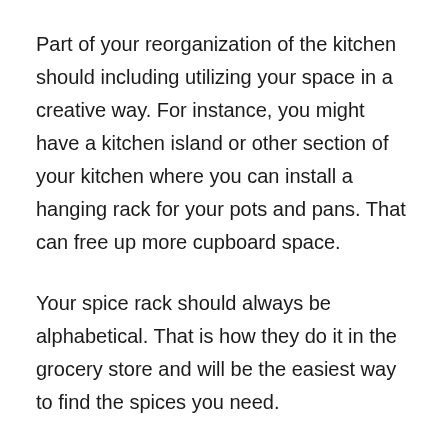Part of your reorganization of the kitchen should including utilizing your space in a creative way. For instance, you might have a kitchen island or other section of your kitchen where you can install a hanging rack for your pots and pans. That can free up more cupboard space.
Your spice rack should always be alphabetical. That is how they do it in the grocery store and will be the easiest way to find the spices you need.
A clear shoe organizer can be hung on the back of the pantry door and used for more storage for extras foils, wraps, etc.